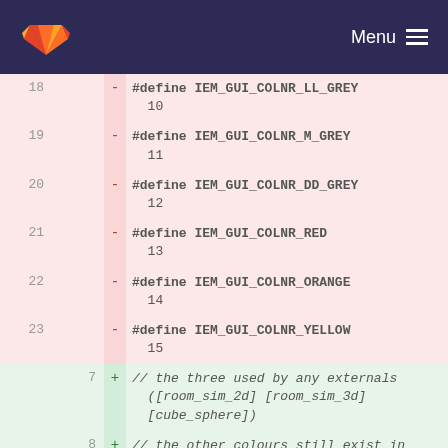[Figure (screenshot): GitLab navigation bar with logo and Menu hamburger icon on dark navy background]
18   - #define IEM_GUI_COLNR_LL_GREY 10
19   - #define IEM_GUI_COLNR_M_GREY 11
20   - #define IEM_GUI_COLNR_DD_GREY 12
21   - #define IEM_GUI_COLNR_RED 13
22   - #define IEM_GUI_COLNR_ORANGE 14
23   - #define IEM_GUI_COLNR_YELLOW 15
7  + // the three used by any externals ([room_sim_2d] [room_sim_3d] [cube_sphere])
8  + // the other colours still exist in the array but are not referred by name.
24  9    #define IEM_GUI_COLNR_GREEN 16